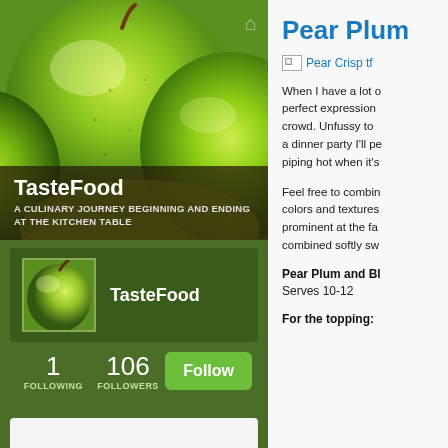[Figure (photo): Close-up photo of green Granny Smith apples filling the frame, hero banner image for TasteFood blog]
TasteFood
A CULINARY JOURNEY BEGINNING AND ENDING AT THE KITCHEN TABLE
[Figure (photo): Small square profile avatar showing a green apple, TasteFood blog profile picture]
TasteFood
1 FOLLOWING
106 FOLLOWERS
Follow
Pear Plum
[Figure (other): Broken image placeholder labeled 'Pear Crisp tf']
When I have a lot of perfect expression crowd. Unfussy to a dinner party I'll pe piping hot when it's
Feel free to combin colors and textures prominent at the fa combined softly sw
Pear Plum and Bl
Serves 10-12
For the topping: